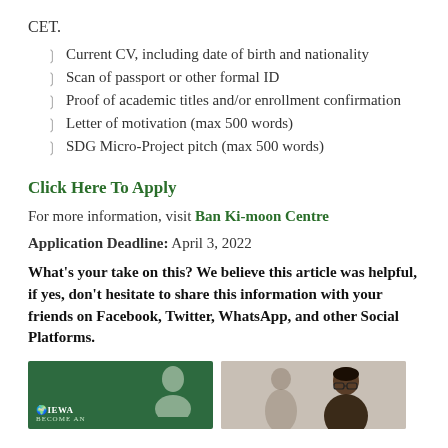CET.
Current CV, including date of birth and nationality
Scan of passport or other formal ID
Proof of academic titles and/or enrollment confirmation
Letter of motivation (max 500 words)
SDG Micro-Project pitch (max 500 words)
Click Here To Apply
For more information, visit Ban Ki-moon Centre
Application Deadline: April 3, 2022
What's your take on this? We believe this article was helpful, if yes, don't hesitate to share this information with your friends on Facebook, Twitter, WhatsApp, and other Social Platforms.
[Figure (photo): Two images at the bottom: left shows a green banner with IEWA logo and a person silhouette with text BECOME AN; right shows a woman with glasses with another person in background]